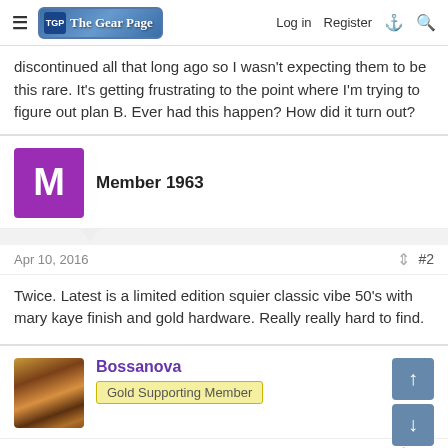The Gear Page — Log in  Register
discontinued all that long ago so I wasn't expecting them to be this rare. It's getting frustrating to the point where I'm trying to figure out plan B. Ever had this happen? How did it turn out?
Member 1963
Apr 10, 2016  #2
Twice. Latest is a limited edition squier classic vibe 50's with mary kaye finish and gold hardware. Really really hard to find.
Bossanova
Gold Supporting Member
Apr 10, 2016  #3